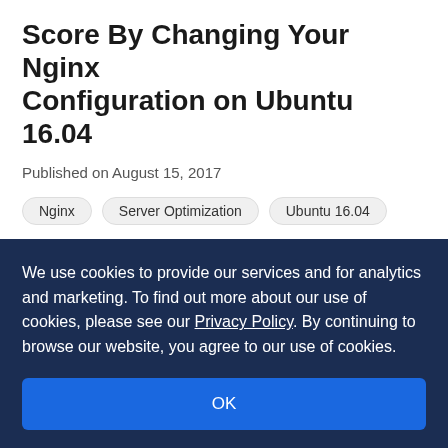Score By Changing Your Nginx Configuration on Ubuntu 16.04
Published on August 15, 2017
Nginx
Server Optimization
Ubuntu 16.04
By Paddy Sherry
Developer and author at DigitalOcean.
We use cookies to provide our services and for analytics and marketing. To find out more about our use of cookies, please see our Privacy Policy. By continuing to browse our website, you agree to our use of cookies.
OK